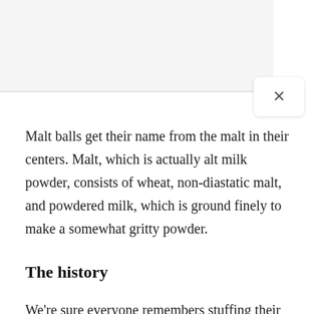Malt balls get their name from the malt in their centers. Malt, which is actually alt milk powder, consists of wheat, non-diastatic malt, and powdered milk, which is ground finely to make a somewhat gritty powder.
The history
We're sure everyone remembers stuffing their faces with malt balls as kids. But did you know how this candy came to be?